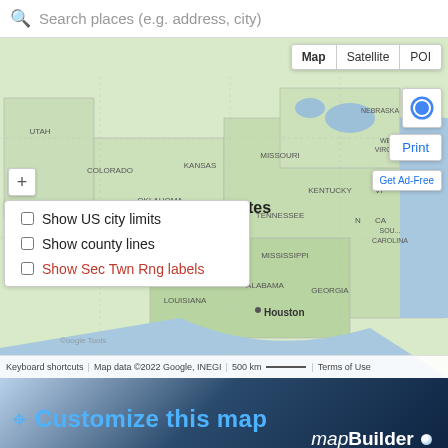Search places (e.g. address, city)
[Figure (map): Google Maps view of the United States showing state boundaries, with map controls including Map/Satellite/POI toggle, blue location dot, Print button, Get Ad-Free link, zoom controls, and overlay options panel with checkboxes for Show US city limits, Show county lines, and Show Sec Twn Rng labels. Map footer shows: Keyboard shortcuts | Map data ©2022 Google, INEGI | 500 km scale | Terms of Use]
[Figure (screenshot): mapBuilder banner with blue pin icon, 'Customize this map' text in blue, and 'mapBuilder' branding in italic/bold white text with a blue sphere dot]
randymajors.org Map Tools ©2022 randymajors.org
Township 2 North, Range 7 East, 1st Principal